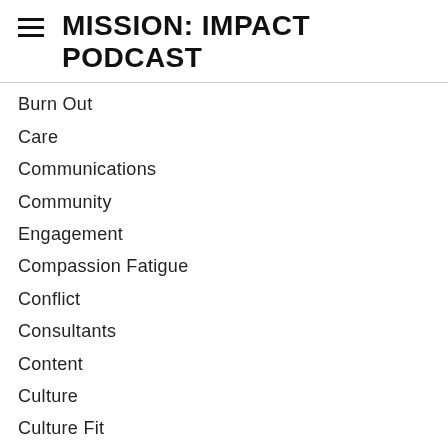MISSION: IMPACT PODCAST
Burn Out
Care
Communications
Community
Engagement
Compassion Fatigue
Conflict
Consultants
Content
Culture
Culture Fit
Decision Makers
Decision makers